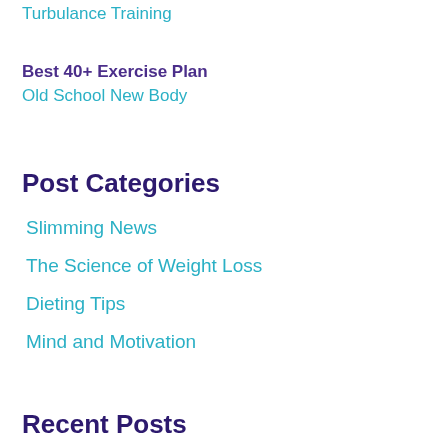Turbulance Training
Best 40+ Exercise Plan
Old School New Body
Post Categories
Slimming News
The Science of Weight Loss
Dieting Tips
Mind and Motivation
Recent Posts
How Does Your Diet Affect Your Mental Health?